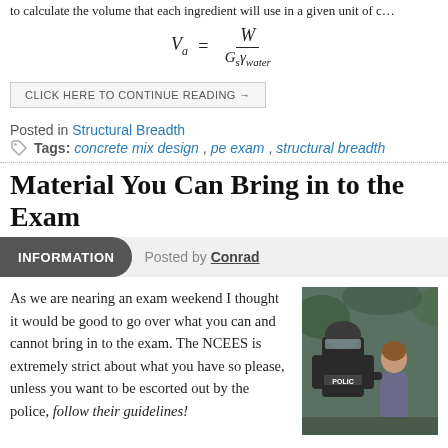to calculate the volume that each ingredient will use in a given unit of c…
CLICK HERE TO CONTINUE READING →
Posted in Structural Breadth
Tags: concrete mix design, pe exam, structural breadth
Material You Can Bring in to the Exam
INFORMATION   Posted by Conrad
As we are nearing an exam weekend I thought it would be good to go over what you can and cannot bring in to the exam. The NCEES is extremely strict about what you have so please, unless you want to be escorted out by the police, follow their guidelines!
[Figure (photo): Photo of a police officer in riot gear escorting/arresting a person]